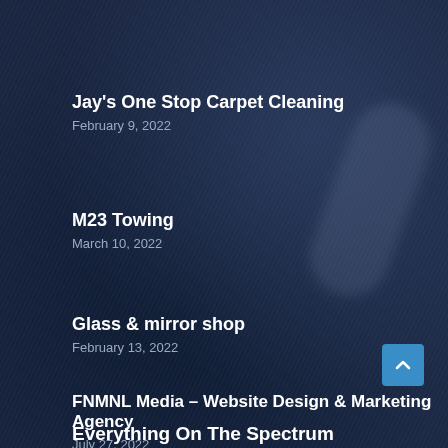Jay's One Stop Carpet Cleaning
February 9, 2022
M23 Towing
March 10, 2022
Glass & mirror shop
February 13, 2022
FNMNL Media – Website Design & Marketing Agency
July 27, 2022
Everything On The Spectrum